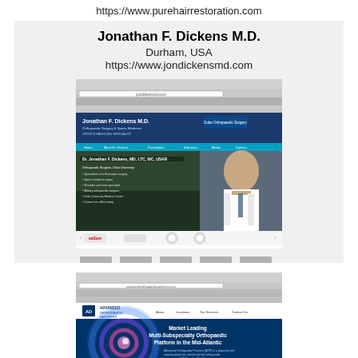https://www.purehairrestoration.com
Jonathan F. Dickens M.D.
Durham, USA
https://www.jondickensmd.com
[Figure (screenshot): Screenshot of jondickensmd.com website showing Jonathan F. Dickens M.D. with Duke Orthopaedic Surgery branding, a photo of the doctor, and a Specialties section below]
[Figure (screenshot): Screenshot of a second medical website showing Advanced Orthopaedic Partners branding with blue swirl graphic and text 'Market Leading Multi-Subspecialty Orthopaedic Platform in the Mid-Atlantic']